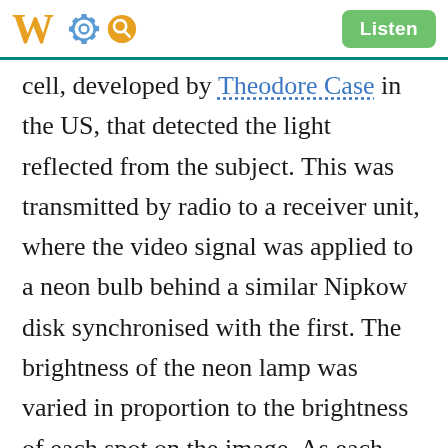W [gear icon] [search icon] Listen
cell, developed by Theodore Case in the US, that detected the light reflected from the subject. This was transmitted by radio to a receiver unit, where the video signal was applied to a neon bulb behind a similar Nipkow disk synchronised with the first. The brightness of the neon lamp was varied in proportion to the brightness of each spot on the image. As each lens in the disk passed by, one scan line of the image was reproduced. With